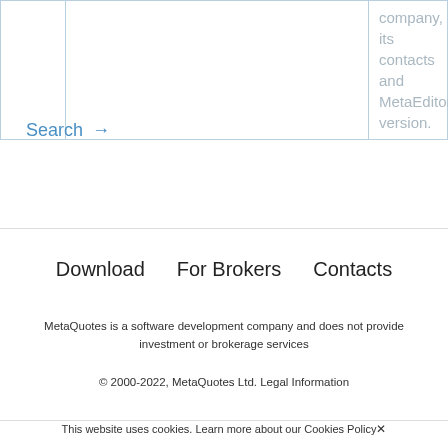|  |  |  |
| --- | --- | --- |
|  |  | company, its contacts and MetaEditor version. |
Search →
Download   For Brokers   Contacts
MetaQuotes is a software development company and does not provide investment or brokerage services
© 2000-2022, MetaQuotes Ltd. Legal Information
This website uses cookies. Learn more about our Cookies Policy ✕